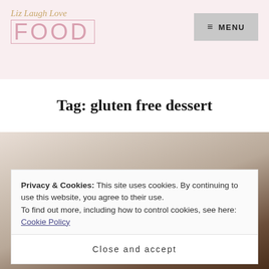Liz Laugh Love FOOD
Tag: gluten free dessert
[Figure (photo): Blurred background photo of chocolate dessert/brownies with white frosting or powdered sugar]
Privacy & Cookies: This site uses cookies. By continuing to use this website, you agree to their use.
To find out more, including how to control cookies, see here: Cookie Policy
Close and accept